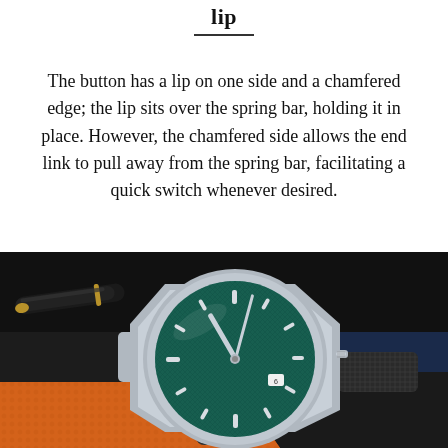lip
The button has a lip on one side and a chamfered edge; the lip sits over the spring bar, holding it in place. However, the chamfered side allows the end link to pull away from the spring bar, facilitating a quick switch whenever desired.
[Figure (photo): A silver watch with a teal/green textured dial, sitting on an orange leather surface next to a black fountain pen, with a dark blue background. The watch has a sport-style integrated bracelet in dark mesh/rubber.]